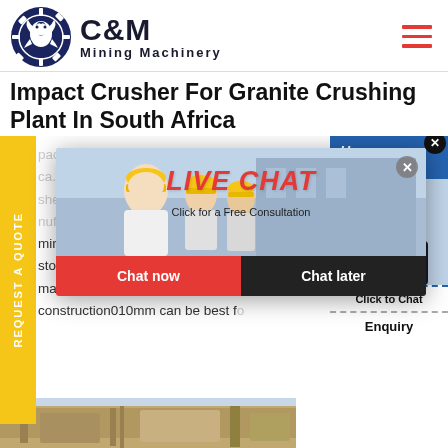[Figure (logo): C&M Mining Machinery logo with eagle in gear icon and company name]
Impact Crusher For Granite Crushing Plant In South Africa
Impact Crusher ... ca. Base... sher mo... nufactu... minerals such as quartz feldspar... stone is distributed in India Chi... many USA Nigeria be used for r... construction010mm can be best fo...
[Figure (screenshot): Live Chat popup with construction workers photo, LIVE CHAT text in red, Click for a Free Consultation, Chat now and Chat later buttons]
[Figure (screenshot): Right side panel showing Hours Online text in blue, headset lady photo, Click to Chat text, Enquiry section]
[Figure (photo): Bottom strip showing industrial/construction scene]